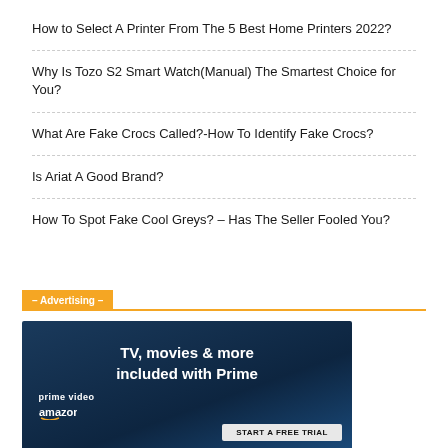How to Select A Printer From The 5 Best Home Printers 2022?
Why Is Tozo S2 Smart Watch(Manual) The Smartest Choice for You?
What Are Fake Crocs Called?-How To Identify Fake Crocs?
Is Ariat A Good Brand?
How To Spot Fake Cool Greys? – Has The Seller Fooled You?
– Advertising –
[Figure (illustration): Amazon Prime Video advertisement banner with text 'TV, movies & more included with Prime', prime video logo, Amazon logo, and 'START A FREE TRIAL' button on dark blue background.]